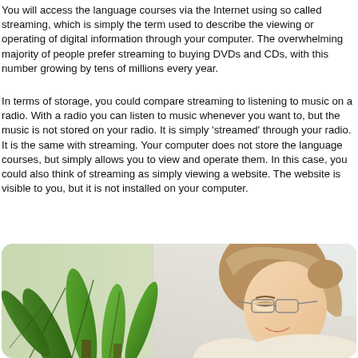You will access the language courses via the Internet using so called streaming, which is simply the term used to describe the viewing or operating of digital information through your computer. The overwhelming majority of people prefer streaming to buying DVDs and CDs, with this number growing by tens of millions every year.
In terms of storage, you could compare streaming to listening to music on a radio. With a radio you can listen to music whenever you want to, but the music is not stored on your radio. It is simply 'streamed' through your radio. It is the same with streaming. Your computer does not store the language courses, but simply allows you to view and operate them. In this case, you could also think of streaming as simply viewing a website. The website is visible to you, but it is not installed on your computer.
[Figure (photo): Photo of a woman with glasses smiling, looking downward, with green tropical plant leaves visible on the left side. Rounded corners on the image.]